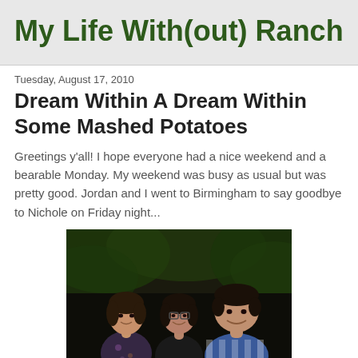My Life With(out) Ranch
Tuesday, August 17, 2010
Dream Within A Dream Within Some Mashed Potatoes
Greetings y'all! I hope everyone had a nice weekend and a bearable Monday. My weekend was busy as usual but was pretty good. Jordan and I went to Birmingham to say goodbye to Nichole on Friday night...
[Figure (photo): Three people posing together outdoors at night. A woman on the left in a floral top, a woman in the middle wearing glasses and a dark top, and a man on the right in a blue and white striped polo shirt.]